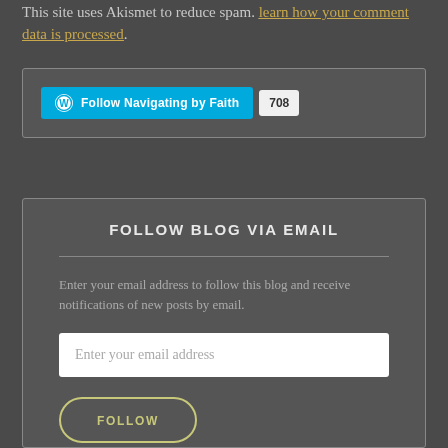This site uses Akismet to reduce spam. Learn how your comment data is processed.
[Figure (other): WordPress Follow button widget showing 'Follow Navigating by Faith' with 708 followers]
FOLLOW BLOG VIA EMAIL
Enter your email address to follow this blog and receive notifications of new posts by email.
Enter your email address
FOLLOW